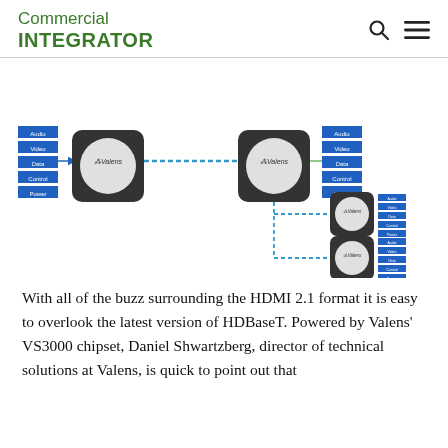Commercial INTEGRATOR
[Figure (network-graph): Valens network diagram showing two large Valens transmitter/receiver units connected by a dashed blue cable, with Audio, Video, Data, Control, Power labels on left input side and right output side. Two smaller Valens units branch off from the right main unit via dashed blue lines, each with smaller Audio/Video/Data/Control/Power labels.]
With all of the buzz surrounding the HDMI 2.1 format it is easy to overlook the latest version of HDBaseT. Powered by Valens' VS3000 chipset, Daniel Shwartzberg, director of technical solutions at Valens, is quick to point out that